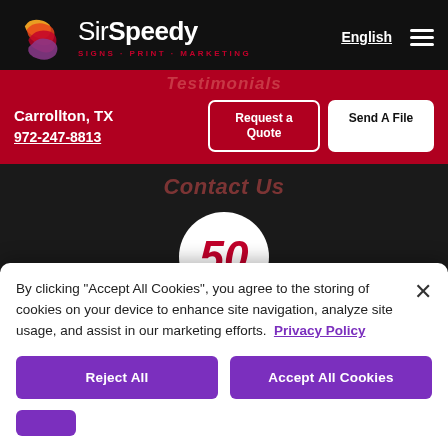[Figure (logo): SirSpeedy logo with colorful abstract S icon and text 'SirSpeedy SIGNS · PRINT · MARKETING']
English
Testimonials
Carrollton, TX
972-247-8813
Request a Quote
Send A File
Contact Us
50
By clicking "Accept All Cookies", you agree to the storing of cookies on your device to enhance site navigation, analyze site usage, and assist in our marketing efforts.  Privacy Policy
Reject All
Accept All Cookies